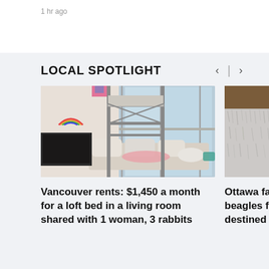1 hr ago
LOCAL SPOTLIGHT
[Figure (photo): Interior photo of an apartment showing a metal loft bunk bed, a sofa with pillows, large windows with city view, and a plant on the windowsill.]
Vancouver rents: $1,450 a month for a loft bed in a living room shared with 1 woman, 3 rabbits
[Figure (photo): Partial photo showing a close-up of a fluffy grey/white fur or carpet texture, partially cut off at the right edge.]
Ottawa far beagles fr destined f